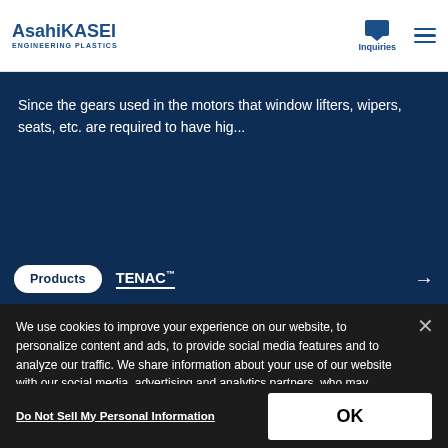[Figure (logo): Asahi KASEI Engineering Plastics logo in top left header]
Since the gears used in the motors that window lifters, wipers, seats, etc. are required to have hig...
Products   TENAC™   →
We use cookies to improve your experience on our website, to personalize content and ads, to provide social media features and to analyze our traffic. We share information about your use of our website with our social media, advertising and analytics partners, who may combine it with other information that you have provided to them or that they have collected from your use of their services. You have the right to opt-out of our sharing information about you with our partners. Please click [Do Not Sell My Personal Information] to customize your cookie settings on our website. Cookie Policy
Do Not Sell My Personal Information
OK